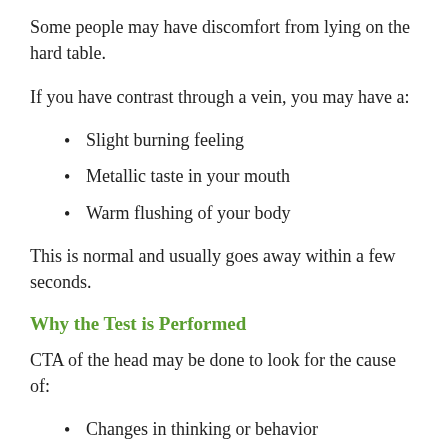Some people may have discomfort from lying on the hard table.
If you have contrast through a vein, you may have a:
Slight burning feeling
Metallic taste in your mouth
Warm flushing of your body
This is normal and usually goes away within a few seconds.
Why the Test is Performed
CTA of the head may be done to look for the cause of:
Changes in thinking or behavior